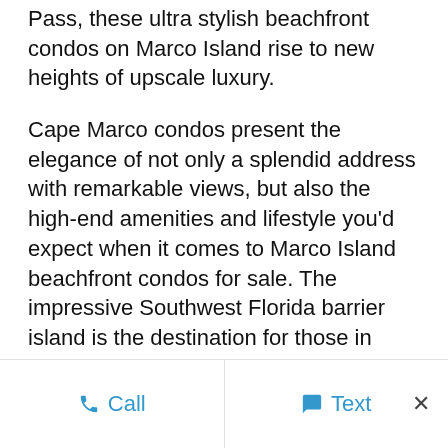Pass, these ultra stylish beachfront condos on Marco Island rise to new heights of upscale luxury.
Cape Marco condos present the elegance of not only a splendid address with remarkable views, but also the high-end amenities and lifestyle you'd expect when it comes to Marco Island beachfront condos for sale. The impressive Southwest Florida barrier island is the destination for those in search of fun in the sun, with an array of outdoor recreation and
...
1,261 Views, 0 Comments
Call   Text   ×